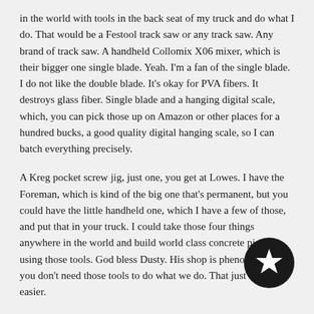in the world with tools in the back seat of my truck and do what I do. That would be a Festool track saw or any track saw. Any brand of track saw. A handheld Collomix X06 mixer, which is their bigger one single blade. Yeah. I'm a fan of the single blade. I do not like the double blade. It's okay for PVA fibers. It destroys glass fiber. Single blade and a hanging digital scale, which, you can pick those up on Amazon or other places for a hundred bucks, a good quality digital hanging scale, so I can batch everything precisely.
A Kreg pocket screw jig, just one, you get at Lowes. I have the Foreman, which is kind of the big one that's permanent, but you could have the little handheld one, which I have a few of those, and put that in your truck. I could take those four things anywhere in the world and build world class concrete pieces using those tools. God bless Dusty. His shop is phenomenal, but you don't need those tools to do what we do. That just makes it easier.
Edgar: Yeah. No, I agree. That was one of the things that really attractive about pursuing this thing. You know, it's like you don't need to go out and... You just need the right tools.
[Figure (illustration): A dark circular badge/button with a white star icon in the center]